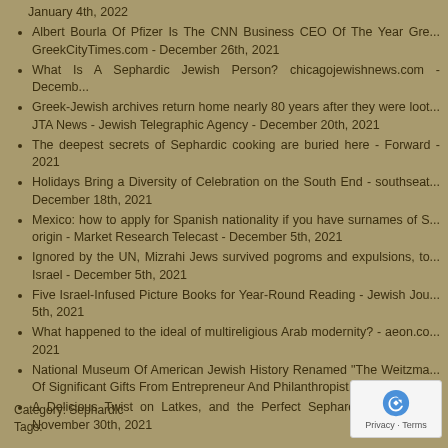January 4th, 2022
Albert Bourla Of Pfizer Is The CNN Business CEO Of The Year Gre... GreekCityTimes.com - December 26th, 2021
What Is A Sephardic Jewish Person? chicagojewishnews.com - Decemb...
Greek-Jewish archives return home nearly 80 years after they were loot... JTA News - Jewish Telegraphic Agency - December 20th, 2021
The deepest secrets of Sephardic cooking are buried here - Forward - 2021
Holidays Bring a Diversity of Celebration on the South End - southseat... December 18th, 2021
Mexico: how to apply for Spanish nationality if you have surnames of S... origin - Market Research Telecast - December 5th, 2021
Ignored by the UN, Mizrahi Jews survived pogroms and expulsions, to... Israel - December 5th, 2021
Five Israel-Infused Picture Books for Year-Round Reading - Jewish Jou... 5th, 2021
What happened to the ideal of multireligious Arab modernity? - aeon.co... 2021
National Museum Of American Jewish History Renamed "The Weitzma... Of Significant Gifts From Entrepreneur And Philanthropist... - December...
A Delicious Twist on Latkes, and the Perfect Sephardic Donut - J... November 30th, 2021
Category: Sephardic
Tags: